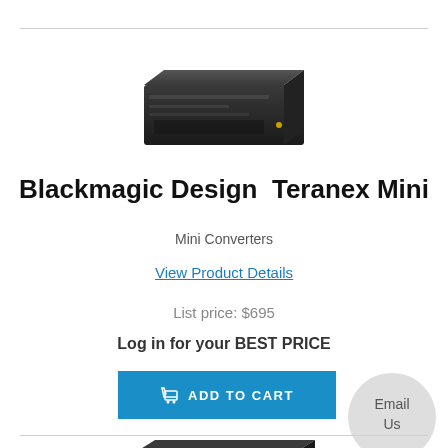[Figure (photo): Blackmagic Design Teranex Mini device, a dark/black rectangular hardware unit, viewed from a slight angle]
Blackmagic Design  Teranex Mini
Mini Converters
View Product Details
List price: $695
Log in for your BEST PRICE
[Figure (other): Add to Cart button (blue rectangle with cart icon)]
[Figure (other): Email Us circular badge (light grey circle with text Email Us)]
[Figure (photo): Second Blackmagic Design product, a dark rectangular hardware unit with label visible]